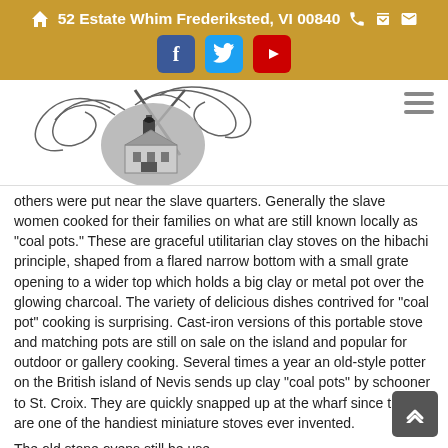52 Estate Whim Frederiksted, VI 00840
[Figure (logo): Estate Whim museum logo with decorative calligraphy and building illustration inside an oval, on a white background]
others were put near the slave quarters. Generally the slave women cooked for their families on what are still known locally as "coal pots." These are graceful utilitarian clay stoves on the hibachi principle, shaped from a flared narrow bottom with a small grate opening to a wider top which holds a big clay or metal pot over the glowing charcoal. The variety of delicious dishes contrived for "coal pot" cooking is surprising. Cast-iron versions of this portable stove and matching pots are still on sale on the island and popular for outdoor or gallery cooking. Several times a year an old-style potter on the British island of Nevis sends up clay "coal pots" by schooner to St. Croix. They are quickly snapped up at the wharf since they are one of the handiest miniature stoves ever invented.
The old stone ovens still be use ... still common in the 18th Cent ...